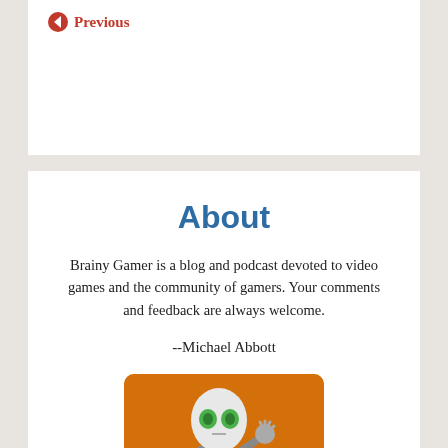← Previous
About
Brainy Gamer is a blog and podcast devoted to video games and the community of gamers. Your comments and feedback are always welcome.
--Michael Abbott
[Figure (illustration): Orange rounded rectangle background with a cartoon alien robot character waving, wearing a grey suit with a screen/badge on its chest, with a large oval white head and green eyes.]